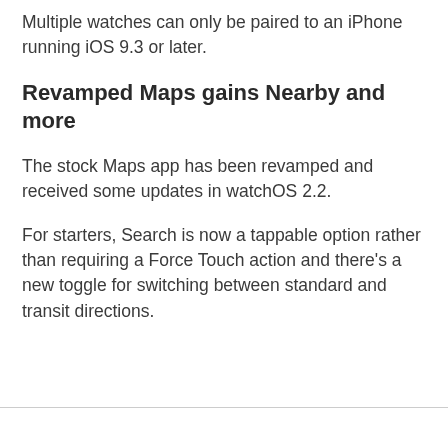Multiple watches can only be paired to an iPhone running iOS 9.3 or later.
Revamped Maps gains Nearby and more
The stock Maps app has been revamped and received some updates in watchOS 2.2.
For starters, Search is now a tappable option rather than requiring a Force Touch action and there's a new toggle for switching between standard and transit directions.